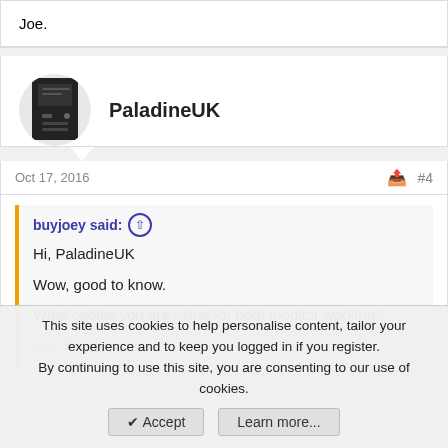Joe.
PaladineUK
Oct 17, 2016 #4
buyjoey said: ↑ Hi, PaladineUK Wow, good to know. What cables you are using for both monitor working? And Elcapitan? or Sierra?
This site uses cookies to help personalise content, tailor your experience and to keep you logged in if you register. By continuing to use this site, you are consenting to our use of cookies.
✔ Accept  Learn more...